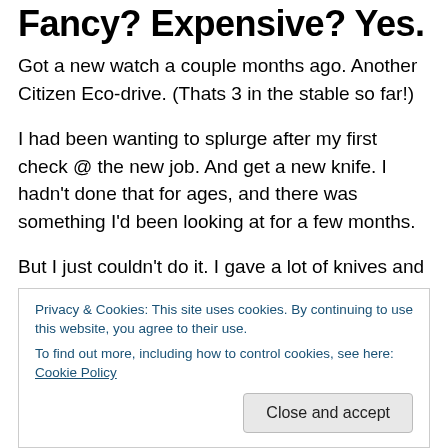Fancy? Expensive? Yes.
Got a new watch a couple months ago. Another Citizen Eco-drive. (Thats 3 in the stable so far!)
I had been wanting to splurge after my first check @ the new job. And get a new knife. I hadn't done that for ages, and there was something I'd been looking at for a few months.
But I just couldn't do it. I gave a lot of knives and another is hard to justify (not just in $ cost) unless im 100% sure of it. I couldn't get past a 60% "yeah... but..." on that one.
Privacy & Cookies: This site uses cookies. By continuing to use this website, you agree to their use.
To find out more, including how to control cookies, see here: Cookie Policy
Close and accept